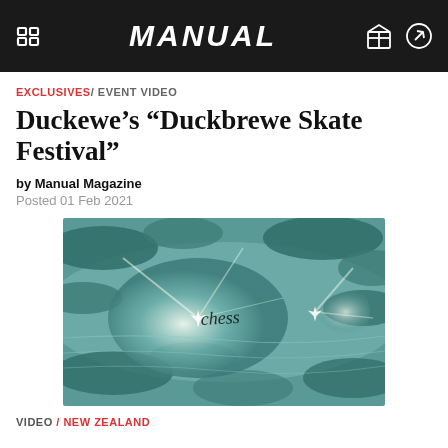MANUAL
EXCLUSIVES / EVENT VIDEO
Duckewe’s “Duckbrewe Skate Festival”
by Manual Magazine
Posted 01 Feb 2021
[Figure (screenshot): Video thumbnail showing reflective water surface with sunlight glare and the word 'chess' in handwritten-style text in the center]
VIDEO / NEW ZEALAND